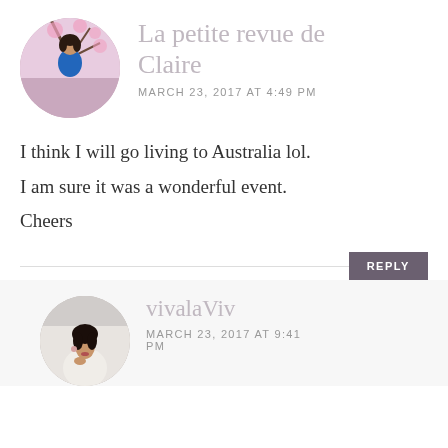[Figure (photo): Circular avatar photo of a woman in a blue top standing near cherry blossom trees]
La petite revue de Claire
MARCH 23, 2017 AT 4:49 PM
I think I will go living to Australia lol.
I am sure it was a wonderful event.
Cheers
REPLY
[Figure (photo): Circular avatar photo of a woman in a white blazer with dark hair pulled back]
vivalaViv
MARCH 23, 2017 AT 9:41 PM